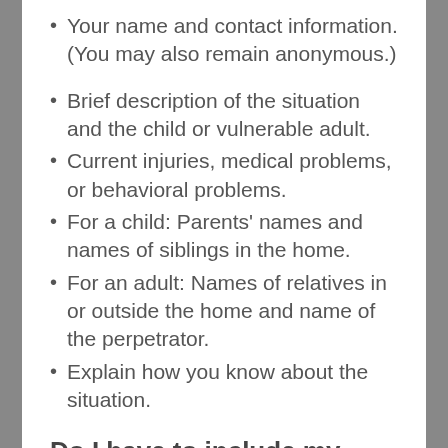Your name and contact information. (You may also remain anonymous.)
Brief description of the situation and the child or vulnerable adult.
Current injuries, medical problems, or behavioral problems.
For a child: Parents' names and names of siblings in the home.
For an adult: Names of relatives in or outside the home and name of the perpetrator.
Explain how you know about the situation.
Do I have to include my name?